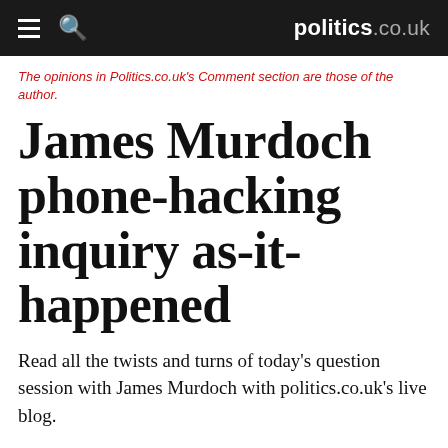politics.co.uk
The opinions in Politics.co.uk's Comment section are those of the author.
James Murdoch phone-hacking inquiry as-it-happened
Read all the twists and turns of today's question session with James Murdoch with politics.co.uk's live blog.
By Ian Dunt Follow @IanDunt